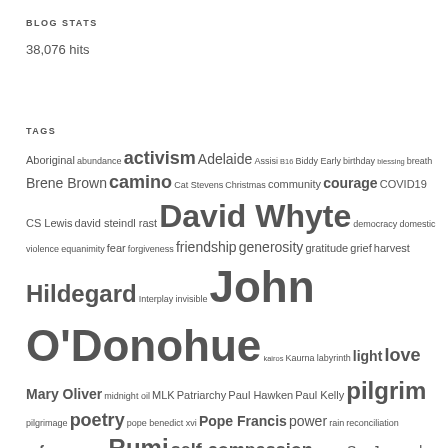BLOG STATS
38,076 hits
TAGS
Aboriginal abundance activism Adelaide Assisi B16 Biddy Early birthday blessing breath Brene Brown camino Cat Stevens Christmas community courage COVID19 CS Lewis david steindl rast David Whyte democracy domestic violence equanimity fear forgiveness friendship generosity gratitude grief harvest Hildegard Interplay invisible John O'Donohue kairos Kaurna labyrinth light love Mary Oliver midnight oil MLK Patriarchy Paul Hawken Paul Kelly pilgrim pilgrimage poetry pope benedict xvi Pope Francis power rain reconciliation refugees Rilke Rumi self-compassion solstice Sor Juana de la Cruz Sor Juana Ines de la Cruz Spring storm Tedx The Burren The Three Marriages trust truth Uluru statement Vatican visible Wedding Willunga witness WOMAD...